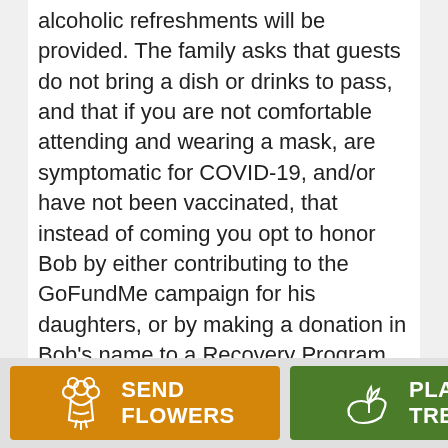alcoholic refreshments will be provided. The family asks that guests do not bring a dish or drinks to pass, and that if you are not comfortable attending and wearing a mask, are symptomatic for COVID-19, and/or have not been vaccinated, that instead of coming you opt to honor Bob by either contributing to the GoFundMe campaign for his daughters, or by making a donation in Bob's name to a Recovery Program of your choice, as Bob was a beloved member of the community. We look forward to seeing those that are able to attend and hearing your stories about Bob. Know that he was with his girls in the end, and that he knew that he was loved.
SEND FLOWERS
PLANT A TREE